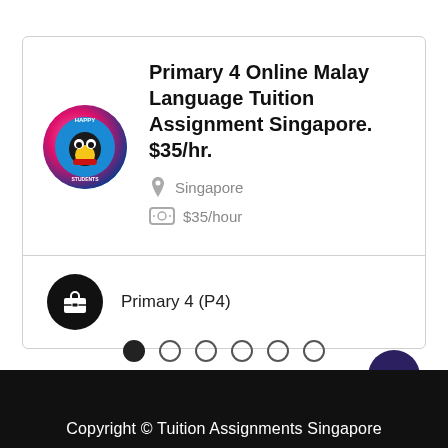Primary 4 Online Malay Language Tuition Assignment Singapore. $35/hr.
Singapore
$35/hour
Primary 4 (P4)
Copyright © Tuition Assignments Singapore